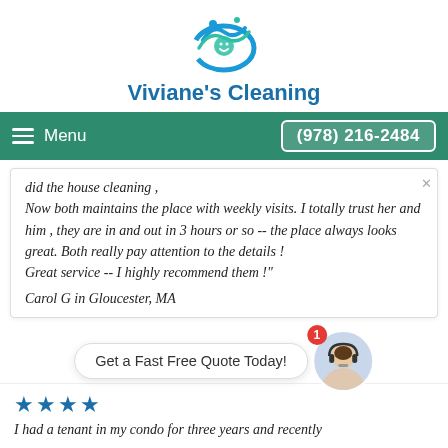[Figure (logo): Viviane's Cleaning logo — stylized blue/teal wave with droplets and a smiling face motif]
Viviane's Cleaning
≡ Menu    (978) 216-2484
did the house cleaning , Now both maintains the place with weekly visits. I totally trust her and him , they are in and out in 3 hours or so -- the place always looks great. Both really pay attention to the details ! Great service -- I highly recommend them !"
Carol G in Gloucester, MA
Get a Fast Free Quote Today!
★★★★
I had a tenant in my condo for three years and recently